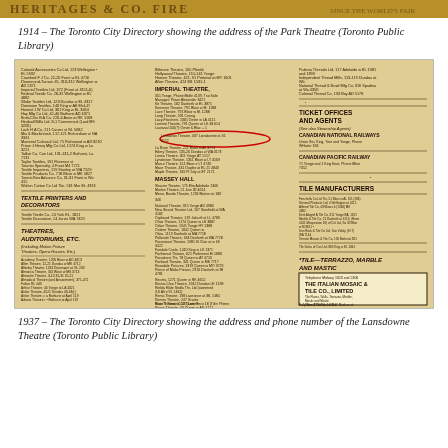[Figure (photo): Top decorative banner/header strip from a historical newspaper or directory page, showing partial text in bold serif font against a tan/gold background]
1914 – The Toronto City Directory showing the address of the Park Theatre (Toronto Public Library)
[Figure (photo): A scan of a 1937 Toronto City Directory page showing columns of listings including 'IMPERIAL THEATRE', 'MASSEY HALL', 'THEATRES, AUDITORIUMS, ETC.', 'TEXTILE PRINTERS AND DECORATORS', 'TICKET OFFICES AND AGENTS', 'CANADIAN NATIONAL RAILWAYS', 'CANADIAN PACIFIC RAILWAY', 'TILE MANUFACTURERS', 'THE ITALIAN MOSAIC & TILE CO., LIMITED', and a red oval circle highlighting the Lansdowne Theatre entry listing '407 Lansdowne at 16' and a phone number.]
1937 – The Toronto City Directory showing the address and phone number of the Lansdowne Theatre (Toronto Public Library)